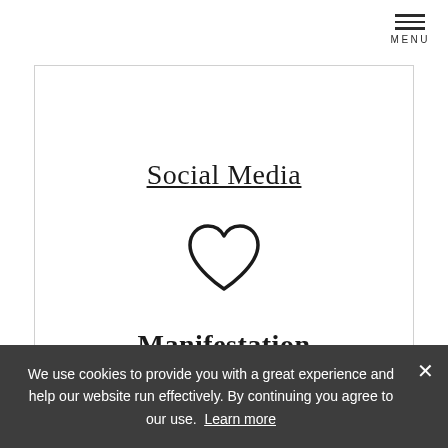[Figure (other): Hamburger menu icon with three horizontal lines and MENU label below]
Social Media
[Figure (illustration): Heart icon outline]
Manifestation
We use cookies to provide you with a great experience and help our website run effectively. By continuing you agree to our use.  Learn more